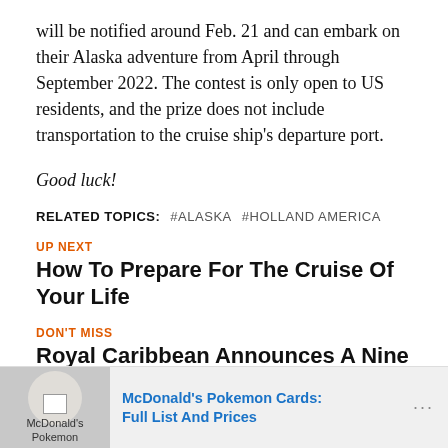will be notified around Feb. 21 and can embark on their Alaska adventure from April through September 2022. The contest is only open to US residents, and the prize does not include transportation to the cruise ship's departure port.
Good luck!
RELATED TOPICS:  #ALASKA  #HOLLAND AMERICA
UP NEXT
How To Prepare For The Cruise Of Your Life
DON'T MISS
Royal Caribbean Announces A Nine Month Cruise Around The World
[Figure (infographic): Advertisement banner at the bottom featuring McDonald's Pokemon Cards with image placeholder, link text, and dots menu.]